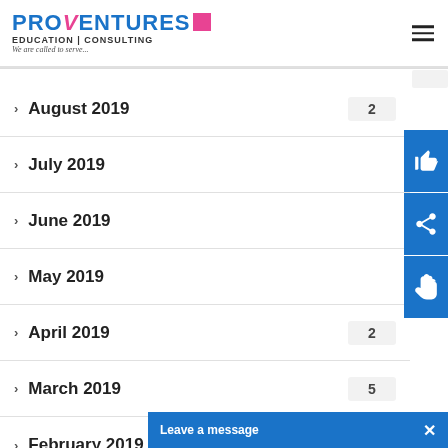[Figure (logo): Proventures Education | Consulting logo with tagline 'We are called to serve...']
> August 2019   2
> July 2019
> June 2019
> May 2019
> April 2019   2
> March 2019   5
> February 2019
Leave a message  ×